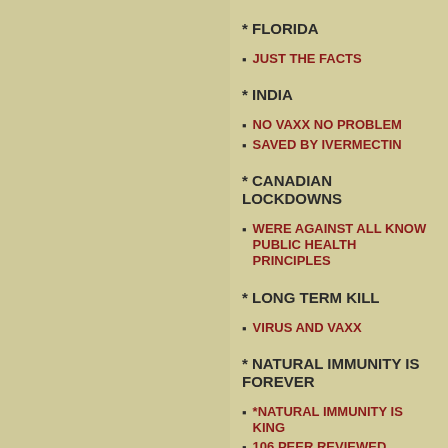* FLORIDA
JUST THE FACTS
* INDIA
NO VAXX NO PROBLEM
SAVED BY IVERMECTIN
* CANADIAN LOCKDOWNS
WERE AGAINST ALL KNOW PUBLIC HEALTH PRINCIPLES
* LONG TERM KILL
VIRUS AND VAXX
* NATURAL IMMUNITY IS FOREVER
*NATURAL IMMUNITY IS KING
106 PEER REVIEWED